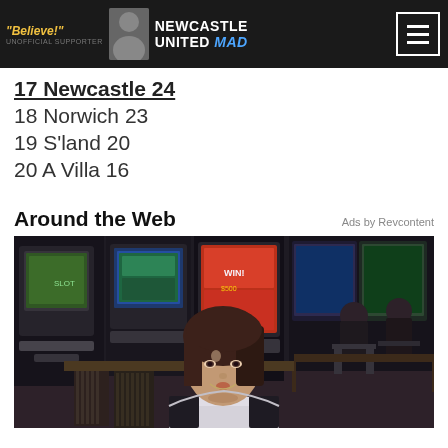Newcastle United MAD - Believe! - Unofficial
17 Newcastle 24
18 Norwich 23
19 S'land 20
20 A Villa 16
Around the Web
Ads by Revcontent
[Figure (photo): Woman in white shirt sitting in a casino in front of slot machines, with other patrons visible in background]